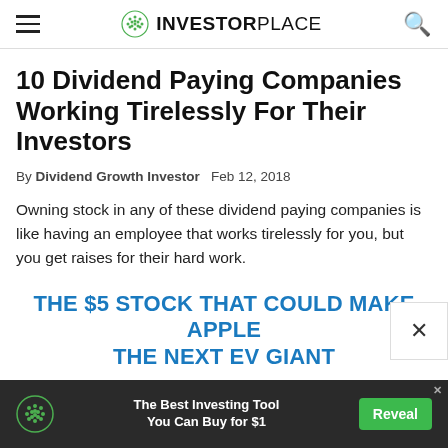INVESTORPLACE
10 Dividend Paying Companies Working Tirelessly For Their Investors
By Dividend Growth Investor  Feb 12, 2018
Owning stock in any of these dividend paying companies is like having an employee that works tirelessly for you, but you get raises for their hard work.
THE $5 STOCK THAT COULD MAKE APPLE THE NEXT EV GIANT
[Figure (other): Advertisement banner at bottom: InvestorPlace logo, text 'The Best Investing Tool You Can Buy for $1', green Reveal button]